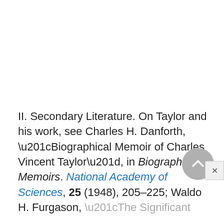II. Secondary Literature. On Taylor and his work, see Charles H. Danforth, “Biographical Memoir of Charles Vincent Taylor”, in Biographical Memoirs. National Academy of Sciences, 25 (1948), 205–225; Waldo H. Furgason, “The Significant